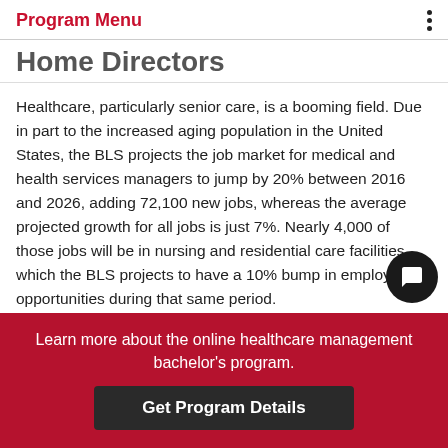Program Menu
Home Directors
Healthcare, particularly senior care, is a booming field. Due in part to the increased aging population in the United States, the BLS projects the job market for medical and health services managers to jump by 20% between 2016 and 2026, adding 72,100 new jobs, whereas the average projected growth for all jobs is just 7%. Nearly 4,000 of those jobs will be in nursing and residential care facilities, which the BLS projects to have a 10% bump in employment opportunities during that same period.
Learn more about the online healthcare management bachelor's program.
Get Program Details